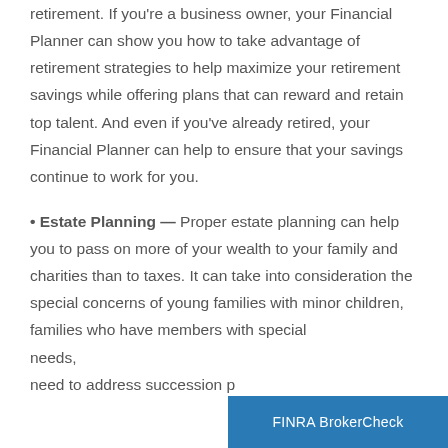retirement. If you're a business owner, your Financial Planner can show you how to take advantage of retirement strategies to help maximize your retirement savings while offering plans that can reward and retain top talent. And even if you've already retired, your Financial Planner can help to ensure that your savings continue to work for you.
Estate Planning — Proper estate planning can help you to pass on more of your wealth to your family and charities than to taxes. It can take into consideration the special concerns of young families with minor children, families who have members with special needs, need to address succession p...
FINRA BrokerCheck